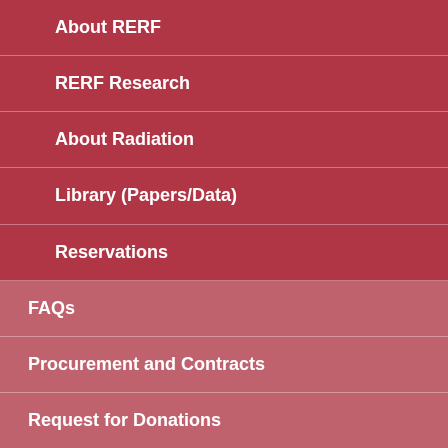About RERF
RERF Research
About Radiation
Library (Papers/Data)
Reservations
FAQs
Procurement and Contracts
Request for Donations